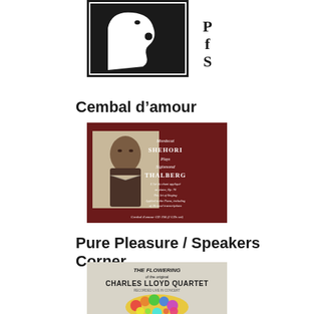[Figure (logo): Black and white logo with a silhouette of a person's profile facing right, with 'PfS' text on the right side]
Cembal d’amour
[Figure (photo): Album cover with dark red background showing a portrait of Sigismond Thalberg and text: Mordecai Shehori Plays Sigismond Thalberg, L'Art du chant appliqué au piano, Op. 70, The Art of Singing Applied to the Piano, including of 26 vocal transcriptions. Cembal d'amour CD 194 (2 CDs set)]
Pure Pleasure / Speakers Corner
[Figure (photo): Album cover for The Flowering of the Original Charles Lloyd Quartet with colorful floral/psychedelic illustration of a head]